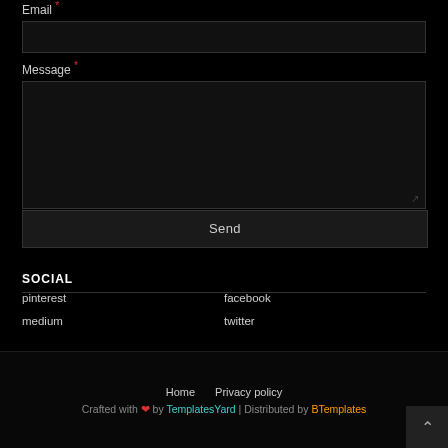Email *
Message *
Send
SOCIAL
pinterest
facebook
medium
twitter
Home   Privacy policy
Crafted with ❤ by TemplatesYard | Distributed by BTemplates